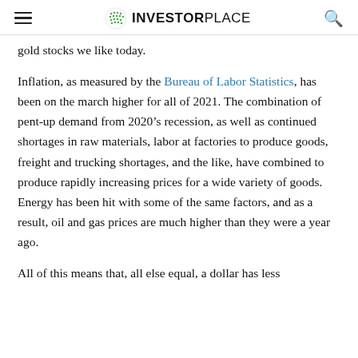InvestorPlace
gold stocks we like today.
Inflation, as measured by the Bureau of Labor Statistics, has been on the march higher for all of 2021. The combination of pent-up demand from 2020’s recession, as well as continued shortages in raw materials, labor at factories to produce goods, freight and trucking shortages, and the like, have combined to produce rapidly increasing prices for a wide variety of goods. Energy has been hit with some of the same factors, and as a result, oil and gas prices are much higher than they were a year ago.
All of this means that, all else equal, a dollar has less